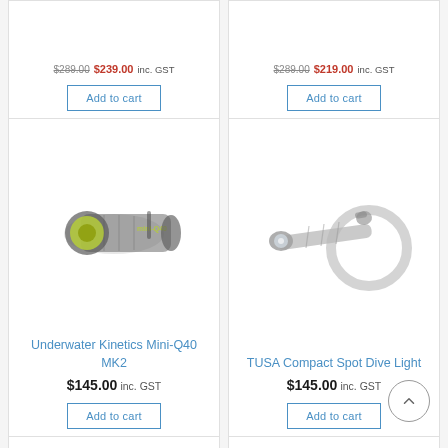[Figure (other): Top partial product card left - sale price area with Add to cart button]
[Figure (other): Top partial product card right - sale price area with Add to cart button]
[Figure (photo): Underwater Kinetics Mini-Q40 MK2 dive flashlight, dark grey body with yellow/green accent]
Underwater Kinetics Mini-Q40 MK2
$145.00 inc. GST
Add to cart
[Figure (photo): TUSA Compact Spot Dive Light, silver/grey compact flashlight with wrist strap loop]
TUSA Compact Spot Dive Light
$145.00 inc. GST
Add to cart
[Figure (other): Bottom partial product cards row, partially visible]
[Figure (other): Scroll-to-top circular button with upward chevron]